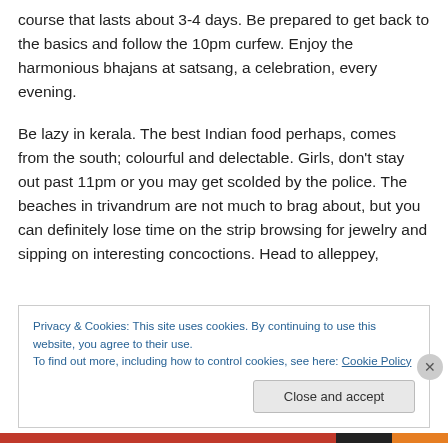course that lasts about 3-4 days. Be prepared to get back to the basics and follow the 10pm curfew. Enjoy the harmonious bhajans at satsang, a celebration, every evening.

Be lazy in kerala. The best Indian food perhaps, comes from the south; colourful and delectable. Girls, don't stay out past 11pm or you may get scolded by the police. The beaches in trivandrum are not much to brag about, but you can definitely lose time on the strip browsing for jewelry and sipping on interesting concoctions. Head to alleppey,
Privacy & Cookies: This site uses cookies. By continuing to use this website, you agree to their use.
To find out more, including how to control cookies, see here: Cookie Policy